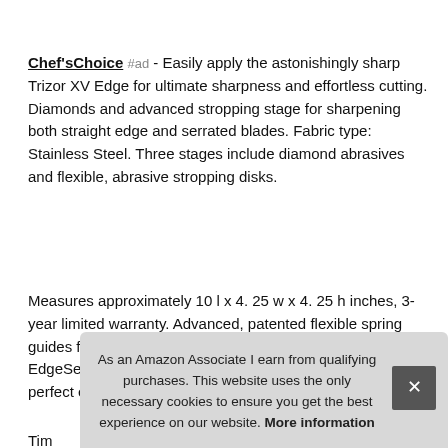Chef'sChoice #ad - Easily apply the astonishingly sharp Trizor XV Edge for ultimate sharpness and effortless cutting. Diamonds and advanced stropping stage for sharpening both straight edge and serrated blades. Fabric type: Stainless Steel. Three stages include diamond abrasives and flexible, abrasive stropping disks.
Measures approximately 10 l x 4. 25 w x 4. 25 h inches, 3-year limited warranty. Advanced, patented flexible spring guides for accurate control of the sharpening angle, 3-Stage EdgeSelect system for optimum versatility in providing the perfect edge for e
Tim
As an Amazon Associate I earn from qualifying purchases. This website uses the only necessary cookies to ensure you get the best experience on our website. More information